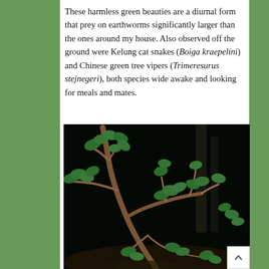These harmless green beauties are a diurnal form that prey on earthworms significantly larger than the ones around my house. Also observed off the ground were Kelung cat snakes (Boiga kraepelini) and Chinese green tree vipers (Trimeresurus stejnegeri), both species wide awake and looking for meals and mates.
[Figure (photo): Night photograph of a plant with green leaves and brown branches against a dark background, possibly showing a snake camouflaged among the branches.]